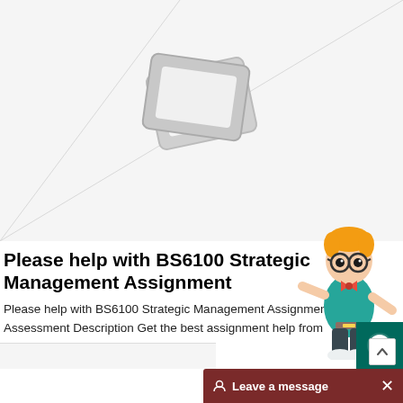[Figure (illustration): Broken/placeholder image area with two overlapping image-frame icons (gray) and diagonal triangle lines in the background, indicating a missing or loading image on a webpage.]
Please help with BS6100 Strategic Management Assignment
Please help with BS6100 Strategic Management Assignment Assessment Description Get the best assignment help from
[Figure (illustration): Cartoon mascot character: a young man with orange spiky hair, glasses, wearing a teal shirt and dark pants, in a pointing/presenting pose.]
[Figure (screenshot): WhatsApp contact button (teal/dark green square with white WhatsApp speech bubble icon) on the right edge of the page.]
Leave a message  ×